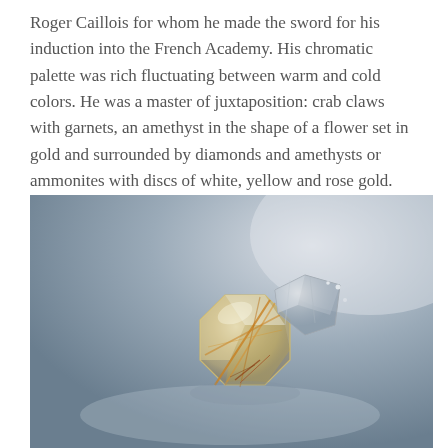Roger Caillois for whom he made the sword for his induction into the French Academy. His chromatic palette was rich fluctuating between warm and cold colors. He was a master of juxtaposition: crab claws with garnets, an amethyst in the shape of a flower set in gold and surrounded by diamonds and amethysts or ammonites with discs of white, yellow and rose gold.
[Figure (photo): Close-up photograph of a gemstone or crystal jewelry piece featuring a large faceted pale/clear stone with golden/amber rutile inclusions and smaller diamond-like stones, set against a blue-grey gradient background.]